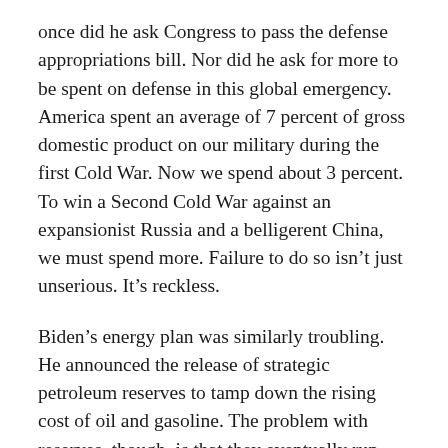once did he ask Congress to pass the defense appropriations bill. Nor did he ask for more to be spent on defense in this global emergency. America spent an average of 7 percent of gross domestic product on our military during the first Cold War. Now we spend about 3 percent. To win a Second Cold War against an expansionist Russia and a belligerent China, we must spend more. Failure to do so isn't just unserious. It's reckless.
Biden's energy plan was similarly troubling. He announced the release of strategic petroleum reserves to tamp down the rising cost of oil and gasoline. The problem with reserves, though, is that they eventually run out. How will we replenish them? Biden left no clue. He wants to provide “investments and tax credits to weatherize your homes and businesses to be energy efficient.” He wants to “double America’s clean energy